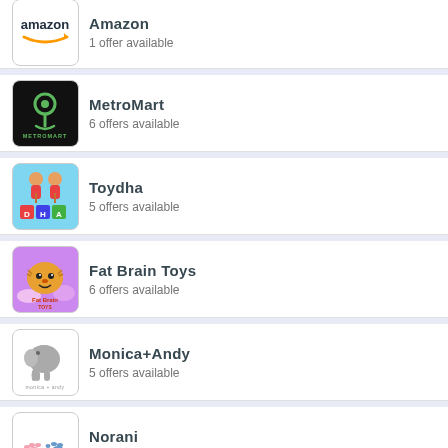Amazon
1 offer available
MetroMart
6 offers available
Toydha
5 offers available
Fat Brain Toys
6 offers available
Monica+Andy
5 offers available
Norani
5 offers available